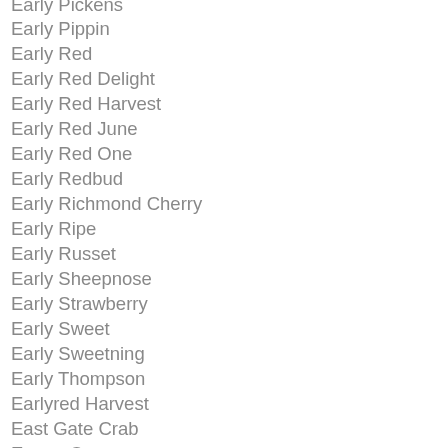Early Pickens
Early Pippin
Early Red
Early Red Delight
Early Red Harvest
Early Red June
Early Red One
Early Redbud
Early Richmond Cherry
Early Ripe
Early Russet
Early Sheepnose
Early Strawberry
Early Sweet
Early Sweetning
Early Thompson
Earlyred Harvest
East Gate Crab
Easter Orange
Eastern Orange
Eastman Crab
Eastman Sweet
Eddleville Seedling